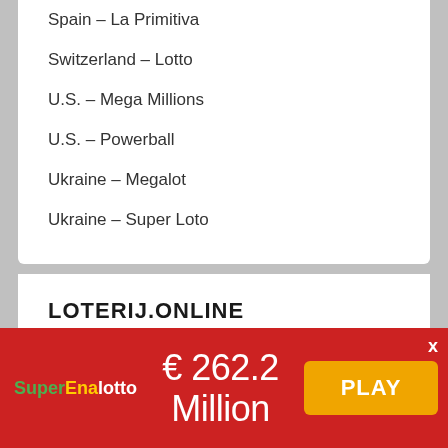Spain – La Primitiva
Switzerland – Lotto
U.S. – Mega Millions
U.S. – Powerball
Ukraine – Megalot
Ukraine – Super Loto
LOTERIJ.ONLINE
About us
Contact with our team
[Figure (infographic): SuperEnalotto advertisement banner showing € 262.2 Million jackpot with a PLAY button]